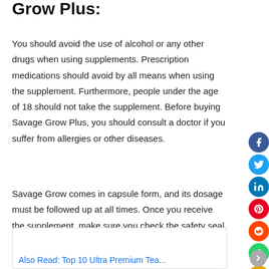Grow Plus:
You should avoid the use of alcohol or any other drugs when using supplements. Prescription medications should avoid by all means when using the supplement. Furthermore, people under the age of 18 should not take the supplement. Before buying Savage Grow Plus, you should consult a doctor if you suffer from allergies or other diseases.
Savage Grow comes in capsule form, and its dosage must be followed up at all times. Once you receive the supplement, make sure you check the safety seal.
[Figure (other): Social media share icons on the right side: Facebook (blue), Twitter (light blue), LinkedIn (blue), Pinterest (red), Reddit (orange), WhatsApp (green), Email (yellow/orange)]
Also Read: Top 10 Ultra Premium Tea...